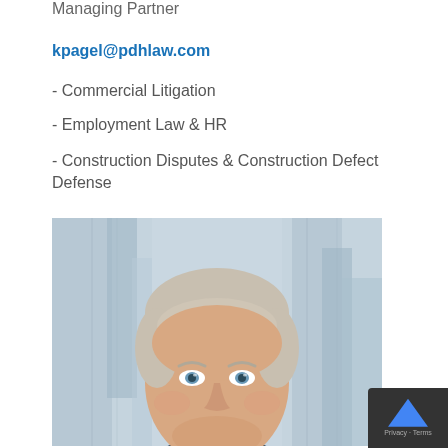Managing Partner
kpagel@pdhlaw.com
- Commercial Litigation
- Employment Law & HR
- Construction Disputes & Construction Defect Defense
[Figure (photo): Professional headshot of a middle-aged man with light blond/grey hair, blue eyes, wearing a suit, photographed against a blurred blue-grey urban background.]